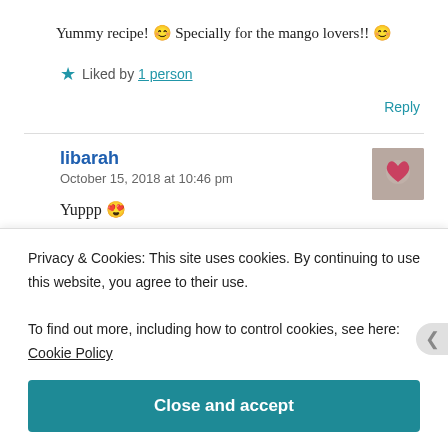Yummy recipe! 😊 Specially for the mango lovers!! 😊
★ Liked by 1 person
Reply
libarah
October 15, 2018 at 10:46 pm
Yuppp 😍
Privacy & Cookies: This site uses cookies. By continuing to use this website, you agree to their use.
To find out more, including how to control cookies, see here: Cookie Policy
Close and accept